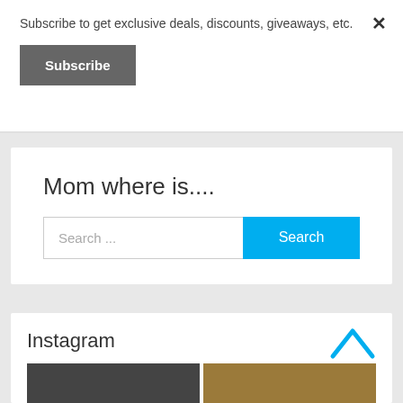Subscribe to get exclusive deals, discounts, giveaways, etc.
Subscribe
Mom where is....
Search ...
Search
Instagram
[Figure (photo): Two Instagram photo thumbnails showing women]